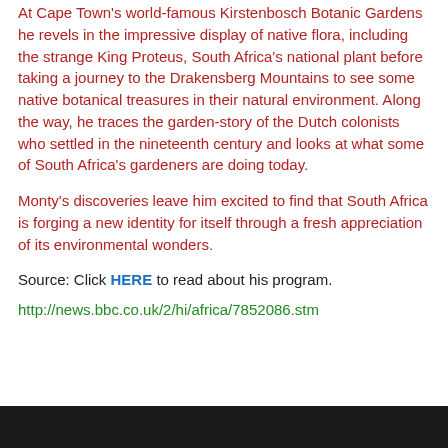At Cape Town's world-famous Kirstenbosch Botanic Gardens he revels in the impressive display of native flora, including the strange King Proteus, South Africa's national plant before taking a journey to the Drakensberg Mountains to see some native botanical treasures in their natural environment. Along the way, he traces the garden-story of the Dutch colonists who settled in the nineteenth century and looks at what some of South Africa's gardeners are doing today.
Monty's discoveries leave him excited to find that South Africa is forging a new identity for itself through a fresh appreciation of its environmental wonders.
Source: Click HERE to read about his program.
http://news.bbc.co.uk/2/hi/africa/7852086.stm
[Figure (photo): Dark/black bottom strip, partial photo visible at bottom of page]